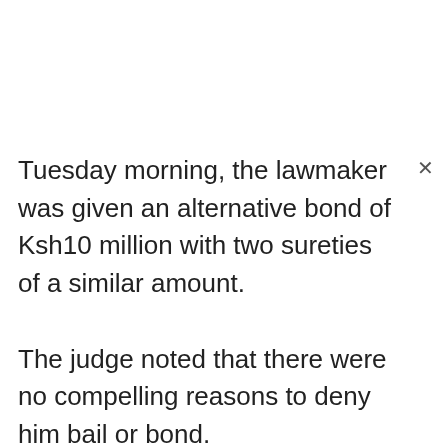Tuesday morning, the lawmaker was given an alternative bond of Ksh10 million with two sureties of a similar amount.
The judge noted that there were no compelling reasons to deny him bail or bond.
The lawmaker, who is charged with attempted murder, following a shooting incident at B-club in Kilimani that left Felix Orinda alias DJ Evolve injured, was released in January on Ksh10 million cash bail